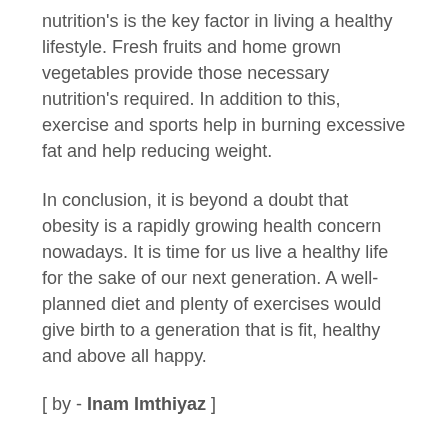nutrition's is the key factor in living a healthy lifestyle. Fresh fruits and home grown vegetables provide those necessary nutrition's required. In addition to this, exercise and sports help in burning excessive fat and help reducing weight.
In conclusion, it is beyond a doubt that obesity is a rapidly growing health concern nowadays. It is time for us live a healthy life for the sake of our next generation. A well-planned diet and plenty of exercises would give birth to a generation that is fit, healthy and above all happy.
[ by - Inam Imthiyaz ]
Sample Answer 3:
According to a study, the average weight of people is